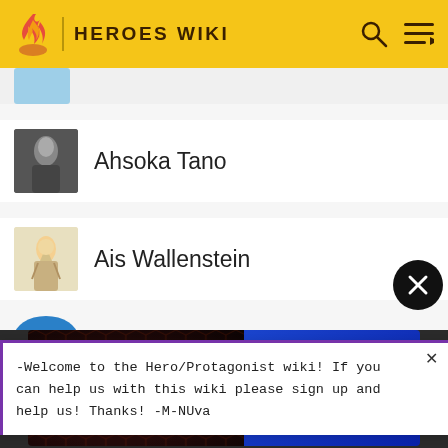HEROES WIKI
Ahsoka Tano
Ais Wallenstein
-Welcome to the Hero/Protagonist wiki! If you can help us with this wiki please sign up and help us! Thanks! -M-NUva
[Figure (screenshot): Advertisement for Paramount+ Original Movie: Owen Wilson Secret Headquarters - Now Streaming. Family Fun on Paramount+. Try it Free.]